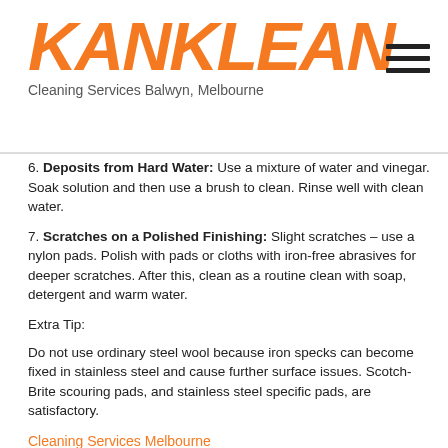KANKLEAN
Cleaning Services Balwyn, Melbourne
6. Deposits from Hard Water: Use a mixture of water and vinegar. Soak solution and then use a brush to clean. Rinse well with clean water.
7. Scratches on a Polished Finishing: Slight scratches – use a nylon pads. Polish with pads or cloths with iron-free abrasives for deeper scratches. After this, clean as a routine clean with soap, detergent and warm water.
Extra Tip:
Do not use ordinary steel wool because iron specks can become fixed in stainless steel and cause further surface issues. Scotch-Brite scouring pads, and stainless steel specific pads, are satisfactory.
Cleaning Services Melbourne